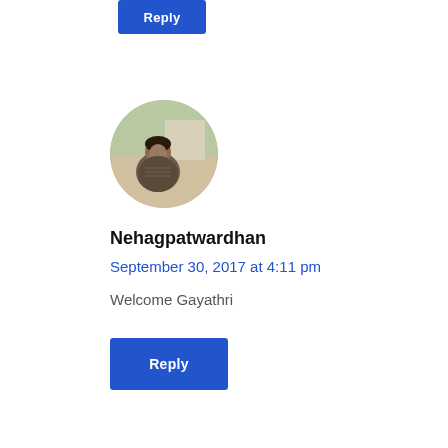[Figure (other): Blue Reply button at the top of the page]
[Figure (photo): Circular profile photo of a person outdoors]
Nehagpatwardhan
September 30, 2017 at 4:11 pm
Welcome Gayathri
[Figure (other): Blue Reply button at the bottom of the comment]